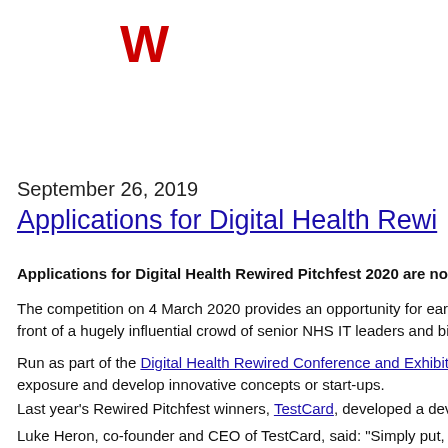W
September 26, 2019
Applications for Digital Health Rewi...
Applications for Digital Health Rewired Pitchfest 2020 are now...
The competition on 4 March 2020 provides an opportunity for earl... front of a hugely influential crowd of senior NHS IT leaders and bi...
Run as part of the Digital Health Rewired Conference and Exhibiti... exposure and develop innovative concepts or start-ups.
Last year’s Rewired Pitchfest winners, TestCard, developed a devi...
Luke Heron, co-founder and CEO of TestCard, said: “Simply put, h... the map. It is, without question, the only competition that truly pu...